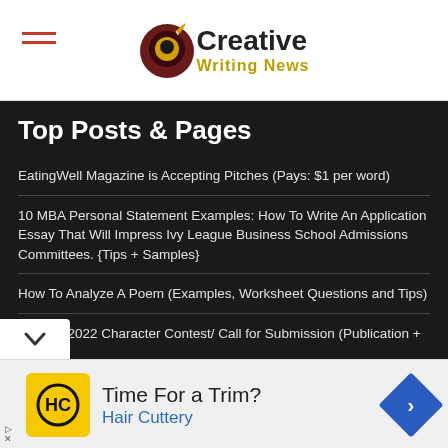Creative Writing News
Top Posts & Pages
EatingWell Magazine is Accepting Pitches (Pays: $1 per word)
10 MBA Personal Statement Examples: How To Write An Application Essay That Will Impress Ivy League Business School Admissions Committees. {Tips + Samples}
How To Analyze A Poem (Examples, Worksheet Questions and Tips)
Reedsy 2022 Character Contest/ Call for Submission (Publication +
[Figure (other): Advertisement banner for Hair Cuttery featuring HC logo, text 'Time For a Trim?' and 'Hair Cuttery', with navigation arrow icon]